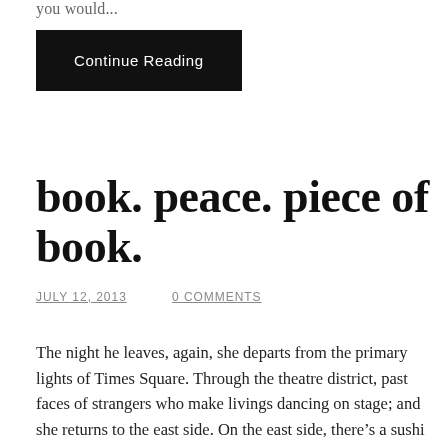you would...
Continue Reading
book. peace. piece of book.
JULY 12, 2013   0 COMMENTS
The night he leaves, again, she departs from the primary lights of Times Square. Through the theatre district, past faces of strangers who make livings dancing on stage; and she returns to the east side. On the east side, there’s a sushi restaurant she used to eat at, when she lived in Tudor City - next to the United Nations. She liked that apartment, eighteen stories up